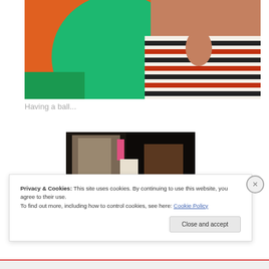[Figure (photo): Child in striped long-sleeve shirt holding a large green balloon against an orange background]
Having a ball...
[Figure (photo): Dark indoor photo showing a doorway or corridor with small decorative elements]
Privacy & Cookies: This site uses cookies. By continuing to use this website, you agree to their use.
To find out more, including how to control cookies, see here: Cookie Policy
Close and accept